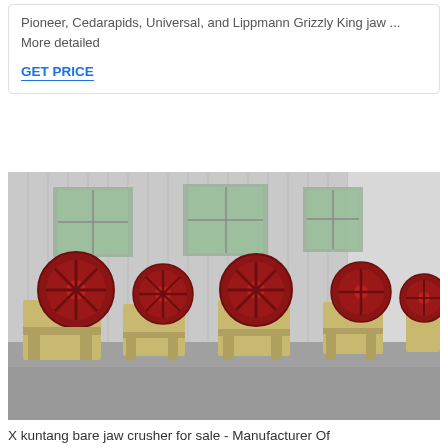Pioneer, Cedarapids, Universal, and Lippmann Grizzly King jaw ... More detailed
GET PRICE
[Figure (photo): A row of yellow jaw crusher machines with dark red flywheels lined up inside a large industrial warehouse with corrugated metal walls and windows.]
X kuntang bare jaw crusher for sale - Manufacturer Of